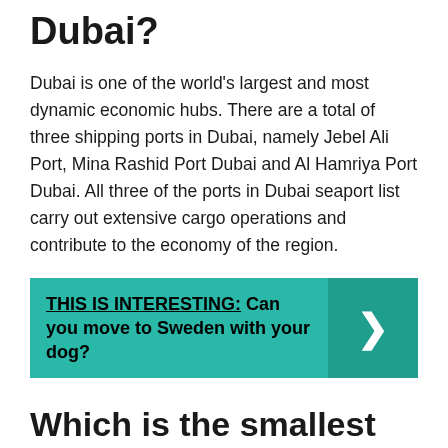Dubai?
Dubai is one of the world's largest and most dynamic economic hubs. There are a total of three shipping ports in Dubai, namely Jebel Ali Port, Mina Rashid Port Dubai and Al Hamriya Port Dubai. All three of the ports in Dubai seaport list carry out extensive cargo operations and contribute to the economy of the region.
THIS IS INTERESTING: Can you move to Sweden with your dog?
Which is the smallest port in world?